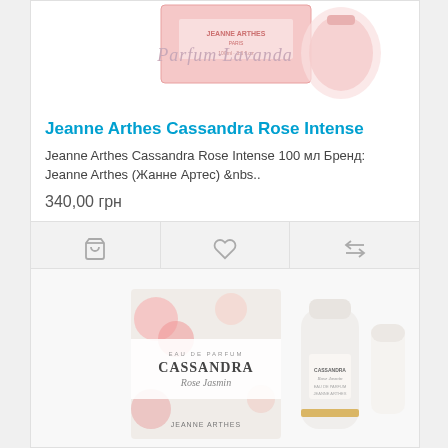[Figure (photo): Pink Jeanne Arthes Cassandra Rose Intense perfume box product image with Parfum Lavanda watermark]
Jeanne Arthes Cassandra Rose Intense
Jeanne Arthes Cassandra Rose Intense 100 мл Бренд: Jeanne Arthes (Жанне Артес)  &nbs..
340,00 грн
[Figure (photo): Cassandra Rose Jasmin Jeanne Arthes perfume product image with box and bottle]